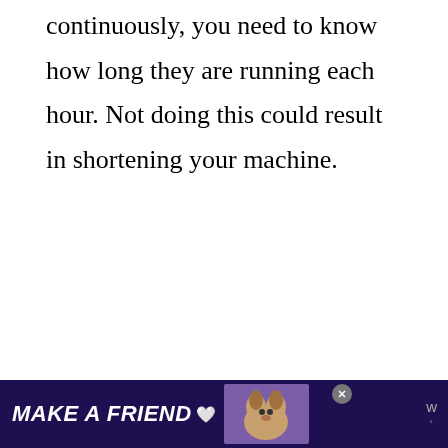continuously, you need to know how long they are running each hour. Not doing this could result in shortening your machine.
[Figure (screenshot): A content placeholder area (ad unit) with three gray dots centered, and social UI buttons on the right side: a blue heart/like button, a count '5' button, and a share button.]
[Figure (photo): Bottom advertisement banner with dark purple background showing 'MAKE A FRIEND' text in white italic bold font, a heart icon, a dog photo, a close button, and a 'w' logo on the right.]